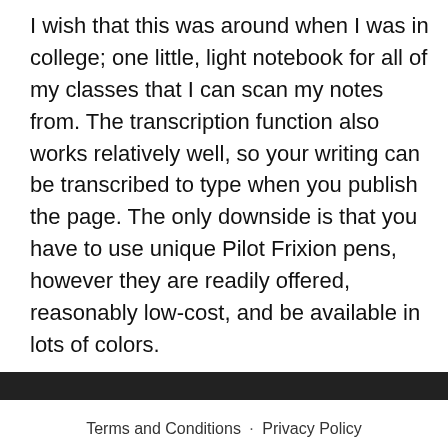I wish that this was around when I was in college; one little, light notebook for all of my classes that I can scan my notes from. The transcription function also works relatively well, so your writing can be transcribed to type when you publish the page. The only downside is that you have to use unique Pilot Frixion pens, however they are readily offered, reasonably low-cost, and be available in lots of colors.
Terms and Conditions · Privacy Policy